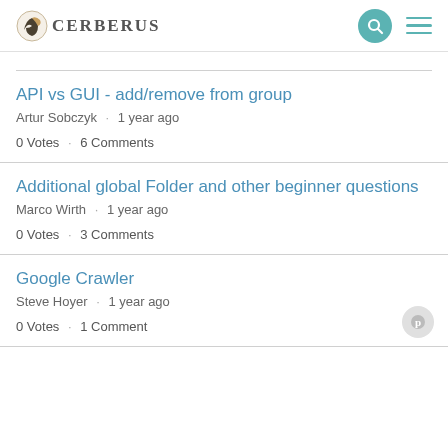Cerberus
API vs GUI - add/remove from group
Artur Sobczyk · 1 year ago
0 Votes · 6 Comments
Additional global Folder and other beginner questions
Marco Wirth · 1 year ago
0 Votes · 3 Comments
Google Crawler
Steve Hoyer · 1 year ago
0 Votes · 1 Comment